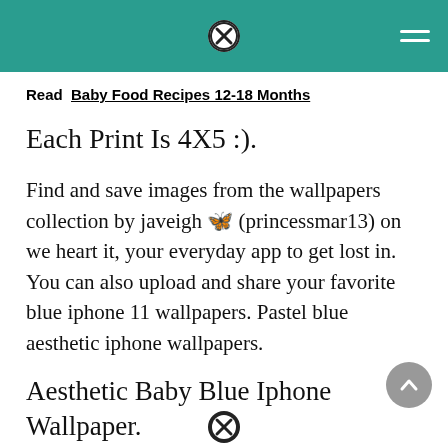Read Baby Food Recipes 12-18 Months
Each Print Is 4X5 :).
Find and save images from the wallpapers collection by javeigh 🦋 (princessmar13) on we heart it, your everyday app to get lost in. You can also upload and share your favorite blue iphone 11 wallpapers. Pastel blue aesthetic iphone wallpapers.
Aesthetic Baby Blue Iphone Wallpaper.